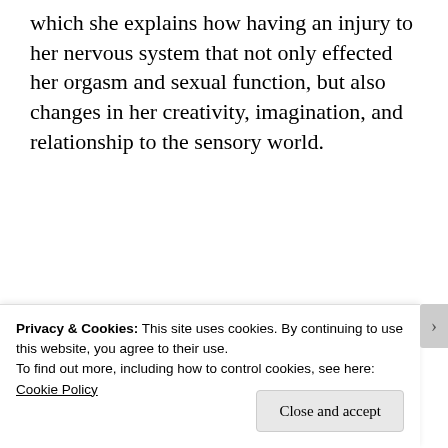which she explains how having an injury to her nervous system that not only effected her orgasm and sexual function, but also changes in her creativity, imagination, and relationship to the sensory world.
[Figure (other): WordPress.com advertisement banner with blue background and pink 'Build Your Website' button]
That’s when I pieced it all together and
Privacy & Cookies: This site uses cookies. By continuing to use this website, you agree to their use.
To find out more, including how to control cookies, see here:
Cookie Policy